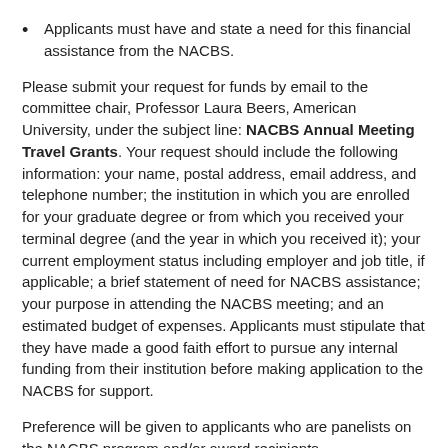Applicants must have and state a need for this financial assistance from the NACBS.
Please submit your request for funds by email to the committee chair, Professor Laura Beers, American University, under the subject line: NACBS Annual Meeting Travel Grants. Your request should include the following information: your name, postal address, email address, and telephone number; the institution in which you are enrolled for your graduate degree or from which you received your terminal degree (and the year in which you received it); your current employment status including employer and job title, if applicable; a brief statement of need for NACBS assistance; your purpose in attending the NACBS meeting; and an estimated budget of expenses. Applicants must stipulate that they have made a good faith effort to pursue any internal funding from their institution before making application to the NACBS for support.
Preference will be given to applicants who are panelists on the NACBS program and/or award recipients.